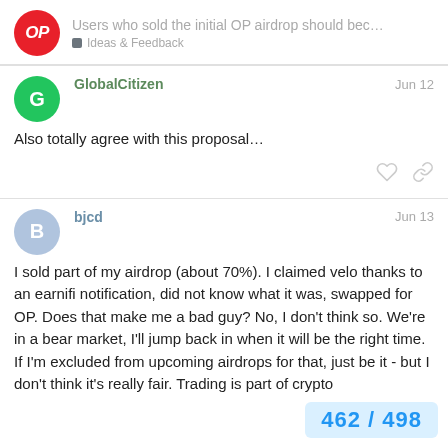Users who sold the initial OP airdrop should bec... | Ideas & Feedback
GlobalCitizen  Jun 12
Also totally agree with this proposal…
bjcd  Jun 13
I sold part of my airdrop (about 70%). I claimed velo thanks to an earnifi notification, did not know what it was, swapped for OP. Does that make me a bad guy? No, I don't think so. We're in a bear market, I'll jump back in when it will be the right time. If I'm excluded from upcoming airdrops for that, just be it - but I don't think it's really fair. Trading is part of crypto
462 / 498